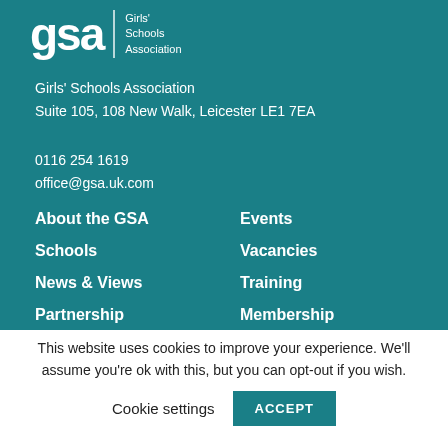[Figure (logo): GSA Girls' Schools Association logo — large 'gsa' letters with a vertical divider and 'Girls' Schools Association' text in white on teal background]
Girls' Schools Association
Suite 105, 108 New Walk, Leicester LE1 7EA
0116 254 1619
office@gsa.uk.com
About the GSA
Schools
News & Views
Partnership
Events
Vacancies
Training
Membership
This website uses cookies to improve your experience. We'll assume you're ok with this, but you can opt-out if you wish.
Cookie settings
ACCEPT